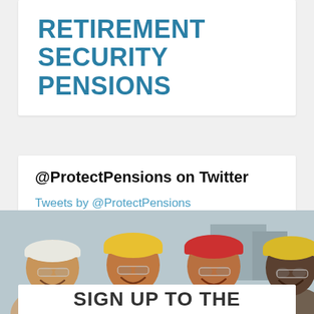RETIREMENT SECURITY PENSIONS
@ProtectPensions on Twitter
Tweets by @ProtectPensions
[Figure (photo): Four smiling male construction workers wearing hard hats and safety glasses, photographed outdoors]
SIGN UP TO THE